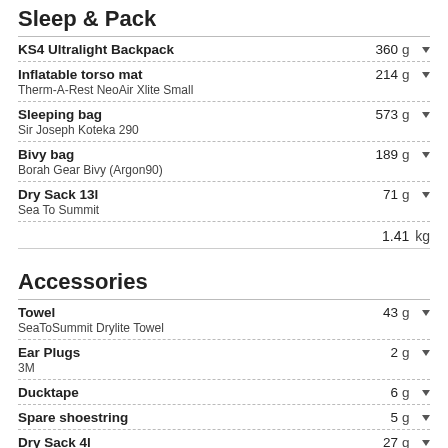Sleep & Pack
KS4 Ultralight Backpack – 360 g
Inflatable torso mat – 214 g
Therm-A-Rest NeoAir Xlite Small
Sleeping bag – 573 g
Sir Joseph Koteka 290
Bivy bag – 189 g
Borah Gear Bivy (Argon90)
Dry Sack 13l – 71 g
Sea To Summit
1.41 kg
Accessories
Towel – 43 g
SeaToSummit Drylite Towel
Ear Plugs – 2 g
3M
Ducktape – 6 g
Spare shoestring – 5 g
Dry Sack 4l – 27 g